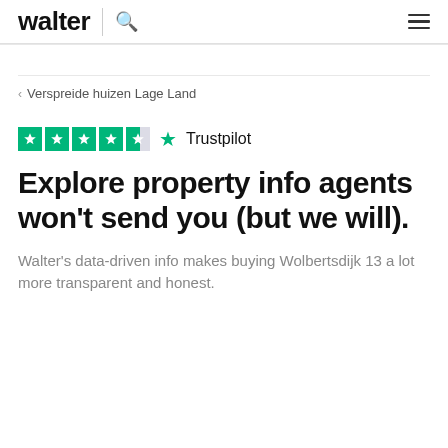walter | search hamburger
< Verspreide huizen Lage Land
[Figure (logo): Trustpilot rating with 4.5 green stars and Trustpilot logo]
Explore property info agents won't send you (but we will).
Walter's data-driven info makes buying Wolbertsdijk 13 a lot more transparent and honest.